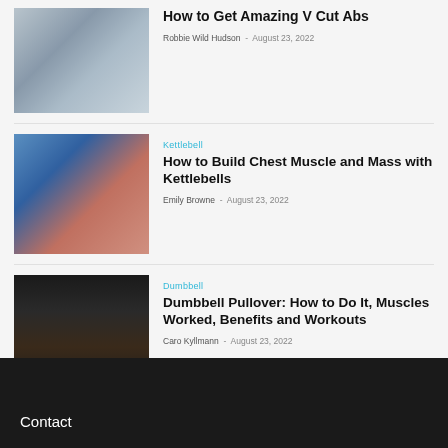[Figure (photo): Two fitness athletes outdoors at a competition, one with arms raised showing abs]
How to Get Amazing V Cut Abs
Robbie Wild Hudson  -  August 23, 2022
[Figure (photo): Male athlete at a fitness competition smiling, shirtless]
Kettlebell
How to Build Chest Muscle and Mass with Kettlebells
Emily Browne  -  August 23, 2022
[Figure (photo): Dark image of dumbbells on a rack in a gym]
Dumbbell
Dumbbell Pullover: How to Do It, Muscles Worked, Benefits and Workouts
Caro Kyllmann  -  August 23, 2022
Contact